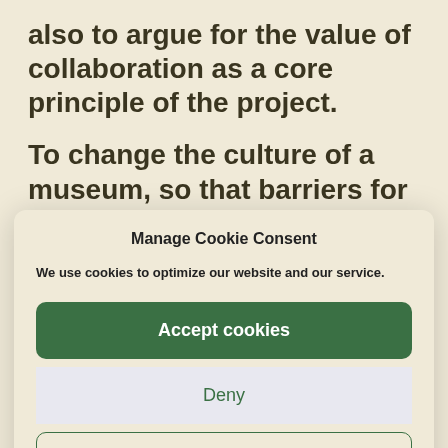also to argue for the value of collaboration as a core principle of the project.
To change the culture of a museum, so that barriers for participation with
Manage Cookie Consent
We use cookies to optimize our website and our service.
Accept cookies
Deny
View preferences